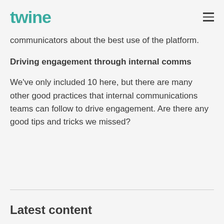twine
communicators about the best use of the platform.
Driving engagement through internal comms
We've only included 10 here, but there are many other good practices that internal communications teams can follow to drive engagement. Are there any good tips and tricks we missed?
Latest content